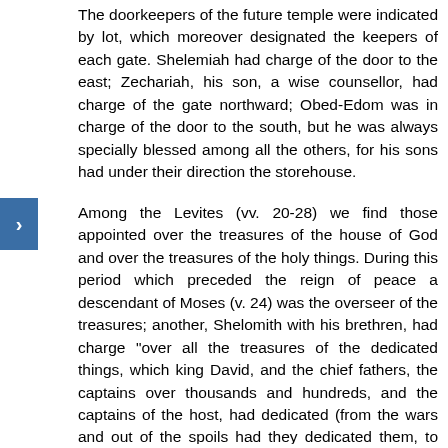The doorkeepers of the future temple were indicated by lot, which moreover designated the keepers of each gate. Shelemiah had charge of the door to the east; Zechariah, his son, a wise counsellor, had charge of the gate northward; Obed-Edom was in charge of the door to the south, but he was always specially blessed among all the others, for his sons had under their direction the storehouse.
Among the Levites (vv. 20-28) we find those appointed over the treasures of the house of God and over the treasures of the holy things. During this period which preceded the reign of peace a descendant of Moses (v. 24) was the overseer of the treasures; another, Shelomith with his brethren, had charge "over all the treasures of the dedicated things, which king David, and the chief fathers, the captains over thousands and hundreds, and the captains of the host, had dedicated (from the wars and out of the spoils had they dedicated them, to maintain the house of Jehovah), and all that Samuel the seer, and Saul the son of Kish, and Abner the son of Ner, and Joab the son of Zeruiah had